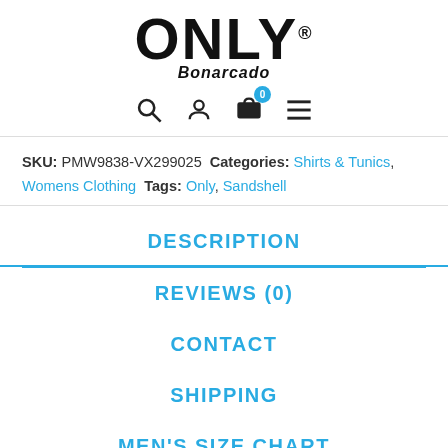[Figure (logo): ONLY brand logo with Bonarcado subtext]
[Figure (infographic): Navigation icons: search, user account, shopping cart with badge showing 0, hamburger menu]
SKU: PMW9838-VX299025 Categories: Shirts & Tunics, Womens Clothing Tags: Only, Sandshell
DESCRIPTION
REVIEWS (0)
CONTACT
SHIPPING
MEN'S SIZE CHART